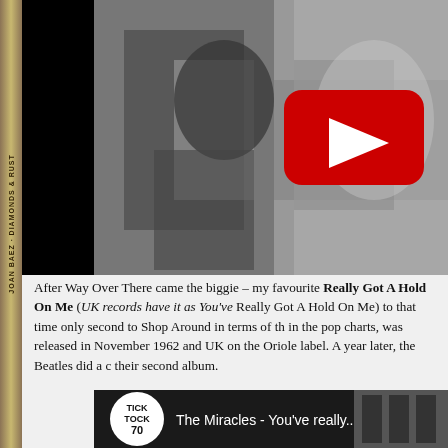[Figure (screenshot): YouTube video thumbnail showing a black and white photo of a performer, with a red YouTube play button overlay in the upper right area. Left portion is black. A second YouTube thumbnail at the bottom shows 'The Miracles - You've really...' with a Tick Tock 70 logo.]
After Way Over There came the biggie – my favourite Really Got A Hold On Me (UK records have it as You've Really Got A Hold On Me) to that time only second to Shop Around in terms of the pop charts, was released in November 1962 and UK on the Oriole label. A year later, the Beatles did a their second album.
[Figure (screenshot): YouTube video thumbnail for The Miracles - You've really, showing Tick Tock 70 logo and a partial image of a building sign.]